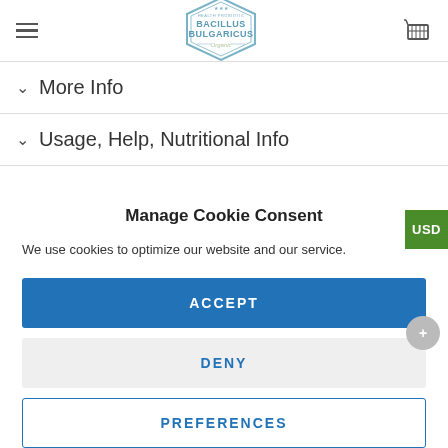Bacillus Bulgaricus — website header with logo, hamburger menu, and cart icon
More Info
Usage, Help, Nutritional Info
Manage Cookie Consent
We use cookies to optimize our website and our service.
ACCEPT
DENY
PREFERENCES